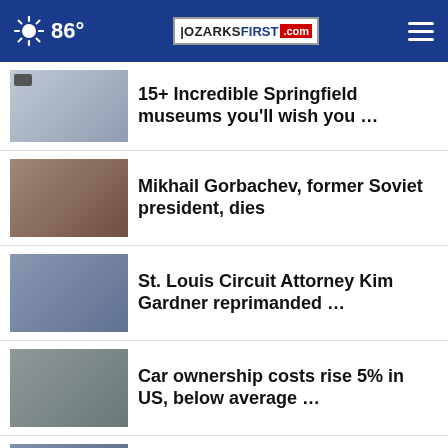86° | OZARKSFIRST.com
15+ Incredible Springfield museums you'll wish you …
Mikhail Gorbachev, former Soviet president, dies
St. Louis Circuit Attorney Kim Gardner reprimanded …
Car ownership costs rise 5% in US, below average …
Biden talks crime, gun control in Pennsylvania
Trump's Truth Social not available on Google Play …